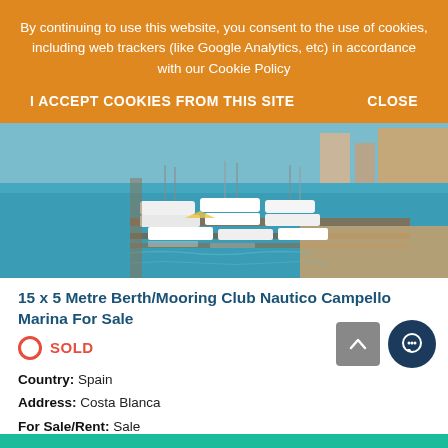By continuing to use this website, you consent to the use of cookies, including web trackers (like Google Analytics, etc) in accordance with our Cookie Policy
I ACCEPT COOKIES FROM THIS SITE    CLOSE
[Figure (photo): Aerial view of a marina filled with sailboats and motorboats moored in blue-green water, with a waterfront promenade and buildings visible in the background.]
15 x 5 Metre Berth/Mooring Club Nautico Campello Marina For Sale
SOLD
Country: Spain
Address: Costa Blanca
For Sale/Rent: Sale
Size: 15 x 5